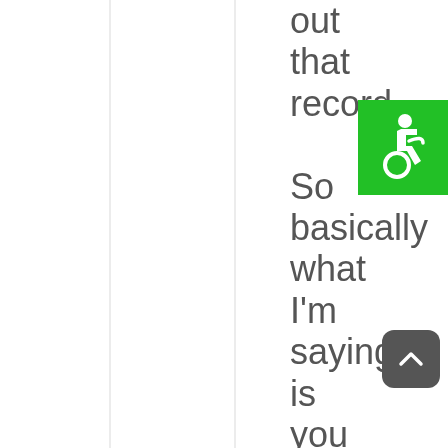out that record So basically what I'm saying is you could be an
[Figure (illustration): Green accessibility icon (wheelchair user symbol) in a bright green square, positioned in upper right area]
[Figure (illustration): Dark gray rounded rectangle button with a white upward-pointing chevron arrow (scroll to top button), positioned in lower right area]